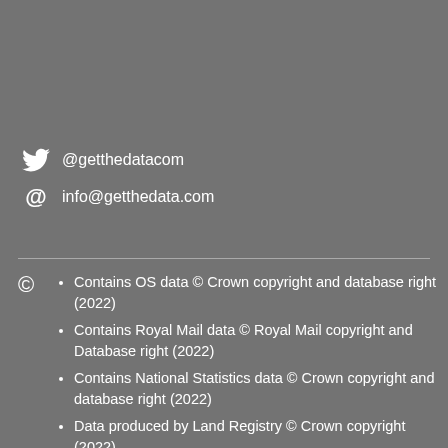@getthedatacom
info@getthedata.com
Contains OS data © Crown copyright and database right (2022)
Contains Royal Mail data © Royal Mail copyright and Database right (2022)
Contains National Statistics data © Crown copyright and database right (2022)
Data produced by Land Registry © Crown copyright (2022)
Contains Environment Agency data licensed under